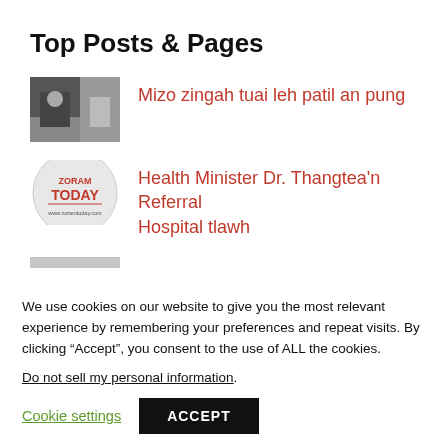Top Posts & Pages
Mizo zingah tuai leh patil an pung
Health Minister Dr. Thangtea'n Referral Hospital tlawh
Boruak tha lo vangin kum tin mi maktaduai chuang an thi
'Lel' luahlantu 'haha'
We use cookies on our website to give you the most relevant experience by remembering your preferences and repeat visits. By clicking “Accept”, you consent to the use of ALL the cookies.
Do not sell my personal information.
Cookie settings   ACCEPT